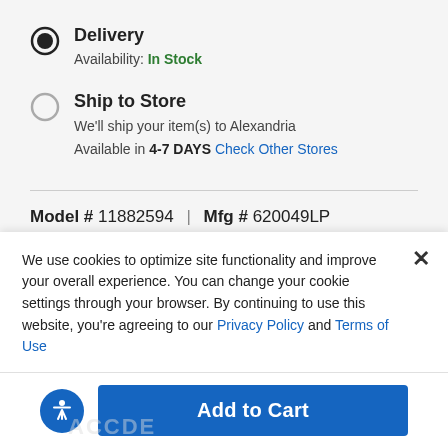Delivery
Availability: In Stock
Ship to Store
We'll ship your item(s) to Alexandria
Available in 4-7 DAYS Check Other Stores
Model # 11882594 | Mfg # 620049LP
We use cookies to optimize site functionality and improve your overall experience. You can change your cookie settings through your browser. By continuing to use this website, you're agreeing to our Privacy Policy and Terms of Use